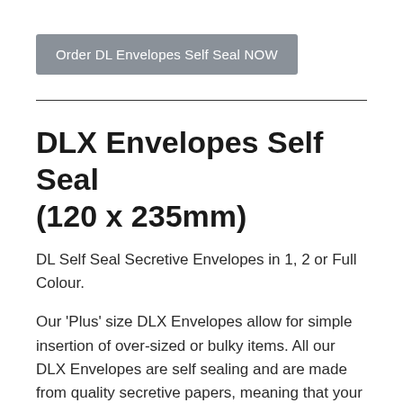[Figure (other): Button: 'Order DL Envelopes Self Seal NOW' with grey background]
DLX Envelopes Self Seal (120 x 235mm)
DL Self Seal Secretive Envelopes in 1, 2 or Full Colour.
Our ‘Plus’ size DLX Envelopes allow for simple insertion of over-sized or bulky items. All our DLX Envelopes are self sealing and are made from quality secretive papers, meaning that your message inside can’t be read until the envelope is opened.